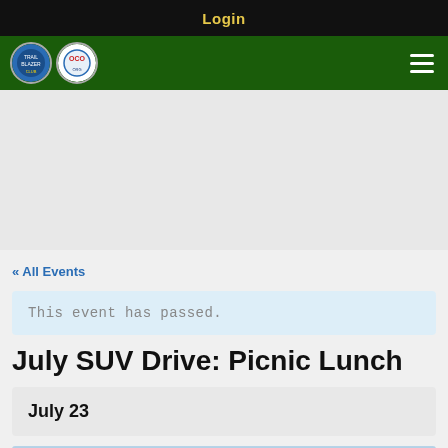Login
[Figure (logo): Navigation bar with two circular logos on a dark green background and a hamburger menu icon on the right]
« All Events
This event has passed.
July SUV Drive: Picnic Lunch
July 23
[Figure (photo): Partial photo strip showing trees against a light sky at the bottom of the page]